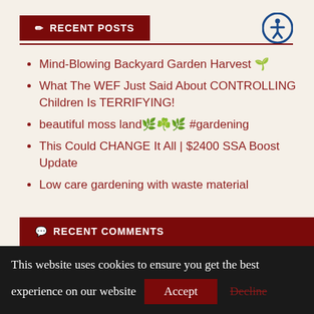RECENT POSTS
Mind-Blowing Backyard Garden Harvest 🌱
What The WEF Just Said About CONTROLLING Children Is TERRIFYING!
beautiful moss land🌿☘️🌿 #gardening
This Could CHANGE It All | $2400 SSA Boost Update
Low care gardening with waste material
RECENT COMMENTS
This website uses cookies to ensure you get the best experience on our website